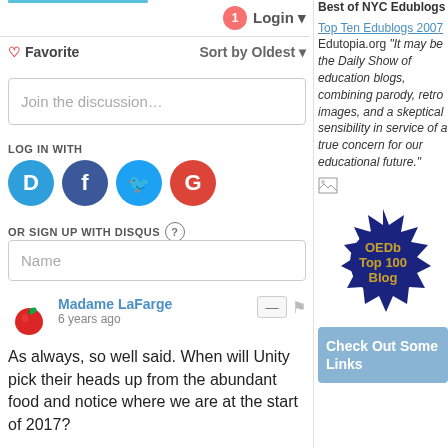[Figure (screenshot): Top decorative blue line bar]
Login
♡ Favorite   Sort by Oldest
Join the discussion…
LOG IN WITH
[Figure (illustration): Social login icons: Disqus (D), Facebook (f), Twitter bird, Google (G)]
OR SIGN UP WITH DISQUS ?
Name
Madame LaFarge
6 years ago
As always, so well said. When will Unity pick their heads up from the abundant food and notice where we are at the start of 2017?
Best of NYC Edublogs
Top Ten Edublogs 2007 Edutopia.org "It may be the Daily Show of education blogs, combining parody, retro images, and a skeptical sensibility in service of a true concern for our educational future."
[Figure (illustration): Small broken/placeholder image icon]
[Figure (illustration): OEDb Top 100 Blog badge — dark blue starburst shape with gold text]
Check Out Some Links